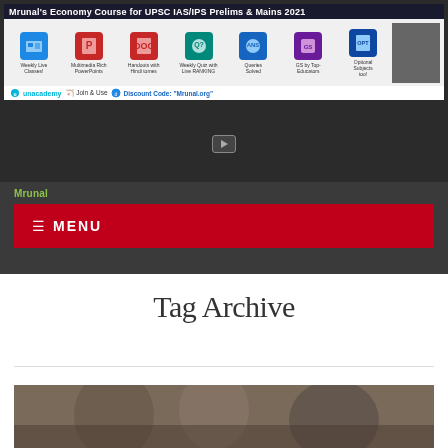[Figure (screenshot): Mrunal's Economy Course for UPSC IAS/IPS Prelims & Mains 2021 banner ad on Unacademy, showing icons for Weekly Live Classes, Multimedia Rich PowerPoints, Handouts with Hindi tomes, Weekly Quiz with Live RANKING, Queries Solved, GS by Top-Educators, Optional Subjects too. Features teacher photo and discount code.]
[Figure (screenshot): Dark background area with a small YouTube play button icon in center]
Mrunal
≡ MENU
Tag Archive
[Figure (photo): Partial photo of people at bottom of page, blurred/low resolution showing human figures]